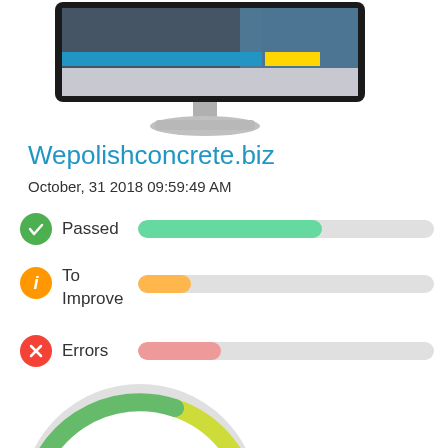[Figure (screenshot): A desktop monitor showing a website screenshot of Wepolishconcrete.biz with a city skyline image and blue/yellow UI elements]
Wepolishconcrete.biz
October, 31 2018 09:59:49 AM
Passed
To Improve
Errors
[Figure (donut-chart): A partial donut/gauge chart showing a score of 63, with green and yellow arc segments]